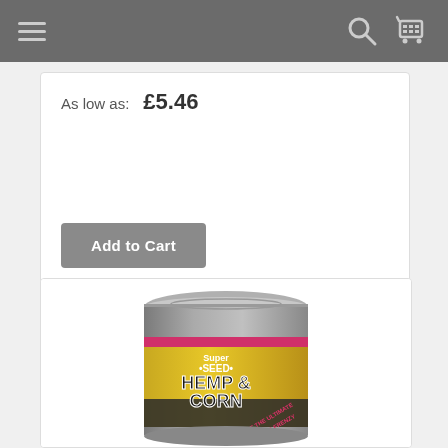Navigation bar with hamburger menu, search icon, and cart icon
As low as: £5.46
[Figure (other): Add to Cart button (grey rounded rectangle)]
[Figure (photo): Super Seed Hemp & Corn product in a tin can with grey top and yellow/gold label showing hemp seeds and corn, text reads Super Seed Hemp & Corn, Create the Ultimate Feeding Frenzy]